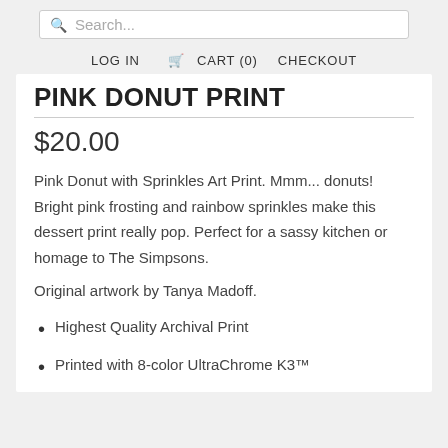Search...
LOG IN   CART (0)   CHECKOUT
PINK DONUT PRINT
$20.00
Pink Donut with Sprinkles Art Print. Mmm... donuts! Bright pink frosting and rainbow sprinkles make this dessert print really pop. Perfect for a sassy kitchen or homage to The Simpsons.
Original artwork by Tanya Madoff.
Highest Quality Archival Print
Printed with 8-color UltraChrome K3™